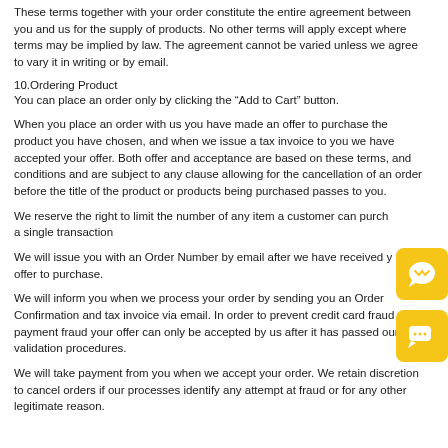These terms together with your order constitute the entire agreement between you and us for the supply of products. No other terms will apply except where terms may be implied by law. The agreement cannot be varied unless we agree to vary it in writing or by email.
10.Ordering Product
You can place an order only by clicking the “Add to Cart” button.
When you place an order with us you have made an offer to purchase the product you have chosen, and when we issue a tax invoice to you we have accepted your offer. Both offer and acceptance are based on these terms, and conditions and are subject to any clause allowing for the cancellation of an order before the title of the product or products being purchased passes to you.
We reserve the right to limit the number of any item a customer can purchase in a single transaction
We will issue you with an Order Number by email after we have received your offer to purchase.
We will inform you when we process your order by sending you an Order Confirmation and tax invoice via email. In order to prevent credit card fraud or payment fraud your offer can only be accepted by us after it has passed our validation procedures.
We will take payment from you when we accept your order. We retain discretion to cancel orders if our processes identify any attempt at fraud or for any other legitimate reason.